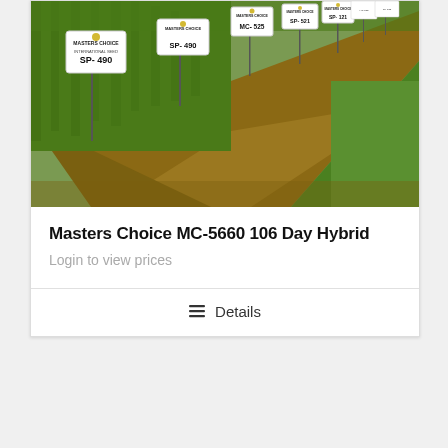[Figure (photo): Outdoor farm field photo showing rows of corn plants with white Masters Choice seed identification signs on stakes. Signs visible include SP-490, SP-490, MC-525, SP-521, SP-121 and others. The field shows bare soil between rows alongside a green grassy area.]
Masters Choice MC-5660 106 Day Hybrid
Login to view prices
Details